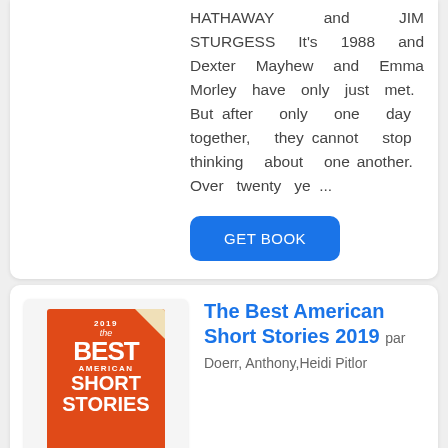HATHAWAY and JIM STURGESS It's 1988 and Dexter Mayhew and Emma Morley have only just met. But after only one day together, they cannot stop thinking about one another. Over twenty ye ...
GET BOOK
[Figure (illustration): Book cover of The Best American Short Stories 2019 by Anthony Doerr and Heidi Pitlor. Orange cover with white text.]
The Best American Short Stories 2019 par Doerr, Anthony,Heidi Pitlor
#1 New York Times best-selling, Pulitzer Prize-winning author Anthony Doerr brings